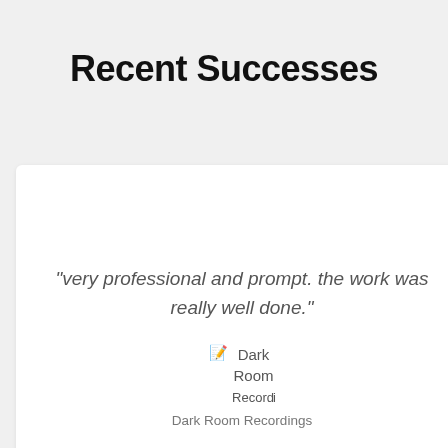Recent Successes
“very professional and prompt. the work was really well done.”
📝 Dark Room Recordings
Dark Room Recordings